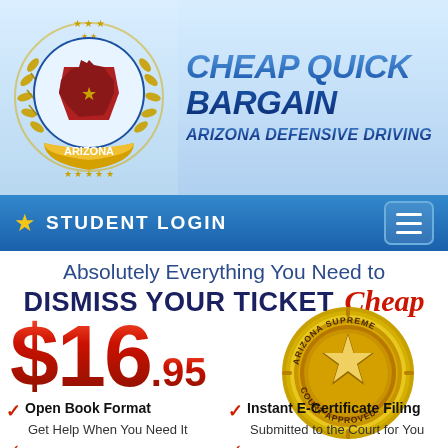[Figure (logo): Arizona state seal badge with laurel wreath, gold ribbon, and state outline in red/blue colors with 'ARIZONA' text]
CHEAP QUICK BARGAIN
ARIZONA DEFENSIVE DRIVING
STUDENT LOGIN
Absolutely Everything You Need to
DISMISS YOUR TICKET Cheap
$16.95
[Figure (logo): Arizona Supreme Court Approved gold seal stamp with star in center]
Open Book Format
Get Help When You Need It
Instant E-Certificate Filing
Submitted to the Court for You